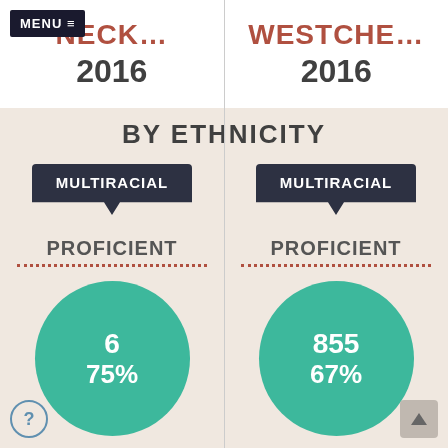MENU ≡ NECK... 2016 | WESTCHE... 2016
BY ETHNICITY
[Figure (donut-chart): NECK... 2016 - MULTIRACIAL PROFICIENT]
[Figure (donut-chart): WESTCHE... 2016 - MULTIRACIAL PROFICIENT]